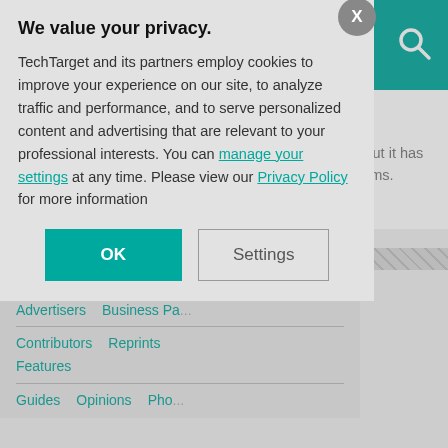SearchStorage
response
Recovery level objective is not a widely used metric, but it has value to business continuity and disaster recovery teams. Learn ...
About Us  Editorial Ethic...
Advertisers  Business Pa...
Contributors  Reprints
Features
Guides  Opinions  Pho...
[Figure (screenshot): Privacy consent modal dialog overlay on SearchStorage website. Title: 'We value your privacy.' Body text about TechTarget and partners using cookies. Links to 'manage your settings' and 'Privacy Policy'. Two buttons: OK and Settings. Close X button in top right.]